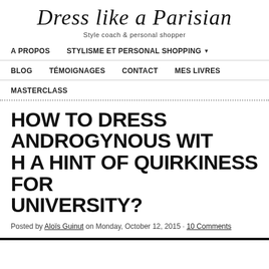Dress like a Parisian
Style coach & personal shopper
A PROPOS   STYLISME ET PERSONAL SHOPPING   BLOG   TÉMOIGNAGES   CONTACT   MES LIVRES   MASTERCLASS
HOW TO DRESS ANDROGYNOUS WITH A HINT OF QUIRKINESS FOR UNIVERSITY?
Posted by Aloïs Guinut on Monday, October 12, 2015 · 10 Comments